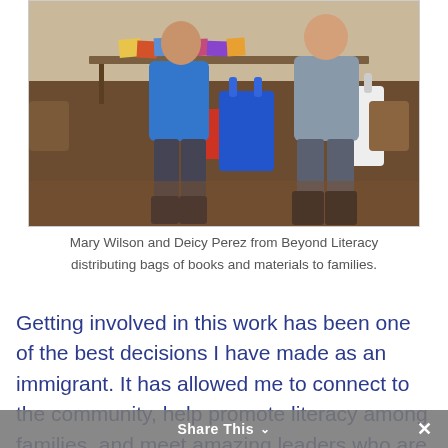[Figure (photo): Two people standing in front of a table with books and bags. One person wears a blue top, the other a grey sweater. They hold shopping bags — a blue one and a white one — in what appears to be a community distribution event.]
Mary Wilson and Deicy Perez from Beyond Literacy distributing bags of books and materials to families.
Getting involved in this work has been one of the best decisions I have made as an immigrant. It has allowed me to connect to the community, help promote literacy among families, and meet amazing leaders who are